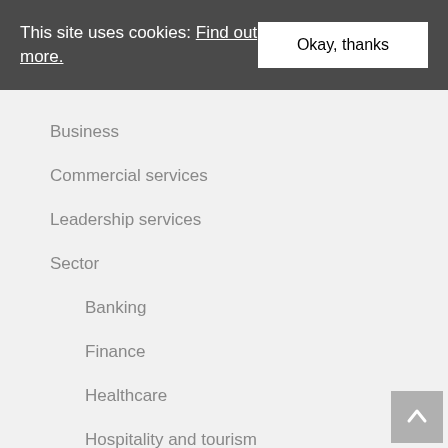This site uses cookies: Find out more.
Okay, thanks
Business
Commercial services
Leadership services
Sector
Banking
Finance
Healthcare
Hospitality and tourism
Infrastructure
Oil and gas